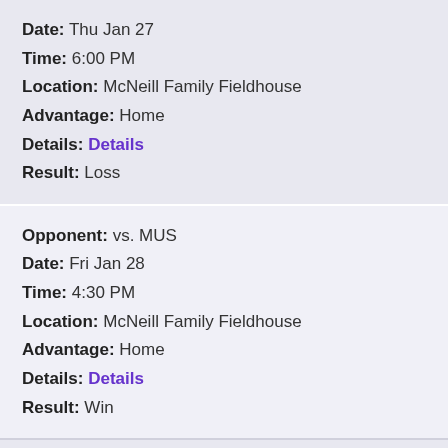Date: Thu Jan 27
Time: 6:00 PM
Location: McNeill Family Fieldhouse
Advantage: Home
Details: Details
Result: Loss
Opponent: vs. MUS
Date: Fri Jan 28
Time: 4:30 PM
Location: McNeill Family Fieldhouse
Advantage: Home
Details: Details
Result: Win
Opponent: Freshman Tournament
Date: Sat Feb 5
Time: TBD